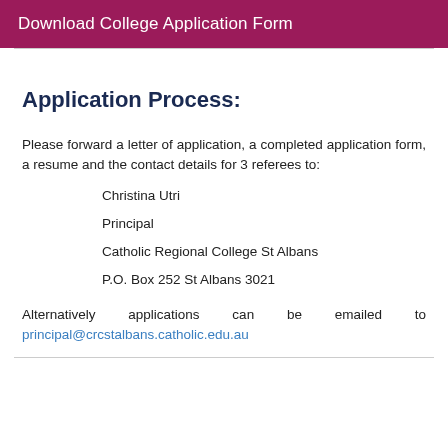Download College Application Form
Application Process:
Please forward a letter of application, a completed application form, a resume and the contact details for 3 referees to:
Christina Utri
Principal
Catholic Regional College St Albans
P.O. Box 252 St Albans 3021
Alternatively applications can be emailed to principal@crcstalbans.catholic.edu.au